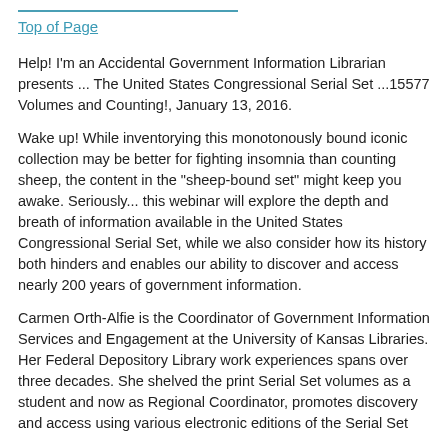Top of Page
Help! I'm an Accidental Government Information Librarian presents ... The United States Congressional Serial Set ...15577 Volumes and Counting!, January 13, 2016.
Wake up! While inventorying this monotonously bound iconic collection may be better for fighting insomnia than counting sheep, the content in the "sheep-bound set" might keep you awake.  Seriously... this webinar will explore the depth and breath of information available in the United States Congressional Serial Set, while we also consider how its history both hinders and enables our ability to discover and access nearly 200 years of government information.
Carmen Orth-Alfie is  the Coordinator of Government Information Services and Engagement at the University of Kansas Libraries.  Her Federal Depository Library work experiences spans over three decades.  She shelved the print Serial Set volumes as a student and now as Regional Coordinator,  promotes discovery and access using various electronic editions of the Serial Set